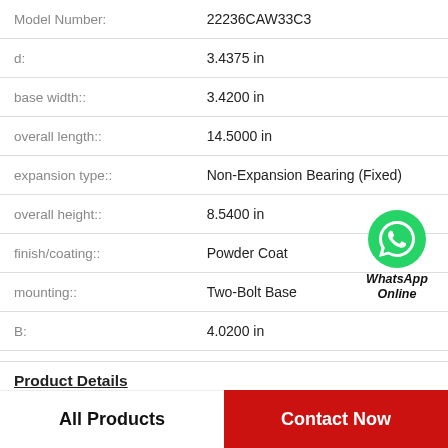| Property | Value |
| --- | --- |
| Model Number: | 22236CAW33C3 |
| d: | 3.4375 in |
| base width:: | 3.4200 in |
| overall length:: | 14.5000 in |
| expansion type:: | Non-Expansion Bearing (Fixed) |
| overall height:: | 8.5400 in |
| finish/coating:: | Powder Coat |
| mounting:: | Two-Bolt Base |
| B: | 4.0200 in |
[Figure (logo): WhatsApp green phone icon with label 'WhatsApp Online']
Product Details
All Products
Contact Now